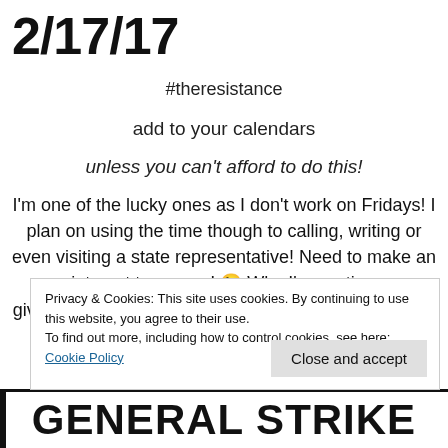2/17/17
#theresistance
add to your calendars
unless you can't afford to do this!
I'm one of the lucky ones as I don't work on Fridays! I plan on using the time though to calling, writing or even visiting a state representative! Need to make an appointment tomorrow! 😉 Why I'm posting now, gives ppl enough time to schedule an appointment or plan on a day off from
Privacy & Cookies: This site uses cookies. By continuing to use this website, you agree to their use.
To find out more, including how to control cookies, see here: Cookie Policy
Close and accept
GENERAL STRIKE